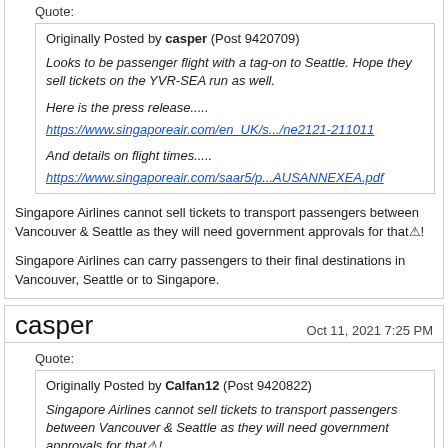Quote:
Originally Posted by casper (Post 9420709)
Looks to be passenger flight with a tag-on to Seattle. Hope they sell tickets on the YVR-SEA run as well.

Here is the press release.....
https://www.singaporeair.com/en_UK/s.../ne2121-211011

And details on flight times.....
https://www.singaporeair.com/saar5/p...AUSANNEXEA.pdf
Singapore Airlines cannot sell tickets to transport passengers between Vancouver & Seattle as they will need government approvals for that⚠!
Singapore Airlines can carry passengers to their final destinations in Vancouver, Seattle or to Singapore.
casper
Oct 11, 2021 7:25 PM
Quote:
Originally Posted by Calfan12 (Post 9420822)
Singapore Airlines cannot sell tickets to transport passengers between Vancouver & Seattle as they will need government approvals for that⚠!